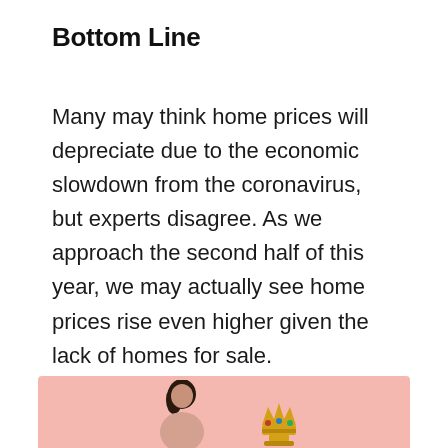Bottom Line
Many may think home prices will depreciate due to the economic slowdown from the coronavirus, but experts disagree. As we approach the second half of this year, we may actually see home prices rise even higher given the lack of homes for sale.
[Figure (photo): A woman with dark hair and a golden crown/trophy figure on a pink/salmon background]